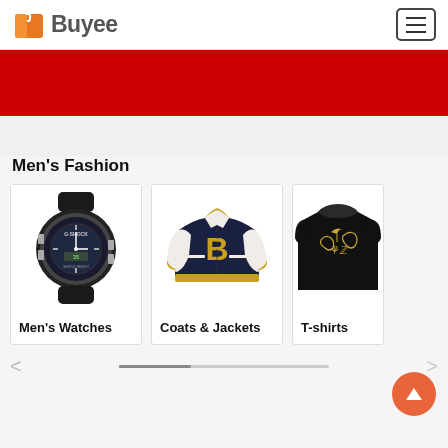[Figure (logo): Buyee logo with orange shopping bag icon and 'Buyee' text]
[Figure (screenshot): Red promotional banner]
Men's Fashion
[Figure (photo): G-SHOCK men's watch with black rubber band]
Men's Watches
[Figure (photo): Navy and gold varsity jacket with white leather sleeves and large B letter]
Coats & Jackets
[Figure (photo): Black T-shirt with floral/bird graphic design]
T-shirts